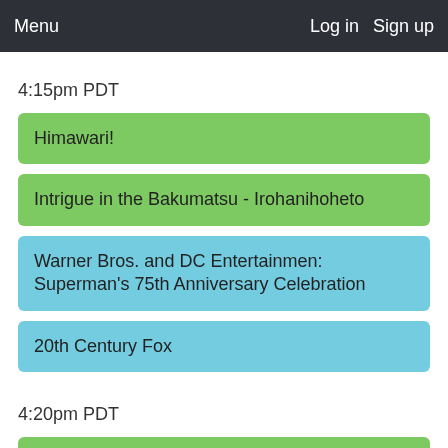Menu   Log in   Sign up
4:15pm PDT
Himawari!
Intrigue in the Bakumatsu - Irohanihoheto
Warner Bros. and DC Entertainmen: Superman's 75th Anniversary Celebration
20th Century Fox
4:20pm PDT
A Certain Magical Index